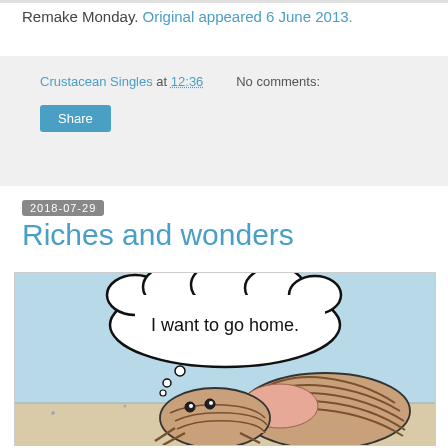Remake Monday. Original appeared 6 June 2013.
Crustacean Singles at 12:36   No comments:
Share
2018-07-29
Riches and wonders
[Figure (illustration): Comic panel showing a hermit crab or crustacean on a sandy surface with a thought bubble reading 'I want to go home.' with small circles below the bubble. Light blue background.]